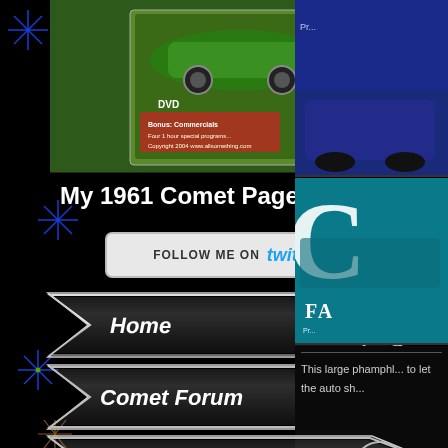[Figure (photo): DVD case and disc on green background, showing a car-related DVD product]
My 1961 Comet Pages
[Figure (screenshot): Follow me on Twitter button with Twitter logo text]
[Figure (illustration): Chrome arrow/fin shaped navigation button labeled Home]
[Figure (illustration): Chrome arrow/fin shaped navigation button labeled Comet Forum]
[Figure (illustration): Chrome arrow/fin shaped navigation button labeled Awards]
[Figure (illustration): Chrome arrow/fin shaped navigation button labeled Photo Shoot]
[Figure (photo): Right column top image - dark blue background with partial car image]
[Figure (photo): Right column middle image - teal background with partial car brochure image labeled FA...]
This large phamphl... to let the auto sh...